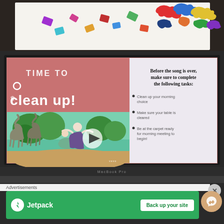[Figure (photo): Top strip showing jigsaw puzzle pieces scattered on a table surface]
[Figure (screenshot): Laptop screen showing a classroom slide titled TIME TO clean up! with a video of an Encanto scene and a task list: Before the song is over, make sure to complete the following tasks: Clean up your morning choice, Make sure your table is cleared, Be at the carpet ready for morning meeting to begin!]
Advertisements
[Figure (infographic): Jetpack advertisement banner on green background with text: Jetpack — Back up your site]
[Figure (other): Facebook Messenger chat bubble icon]